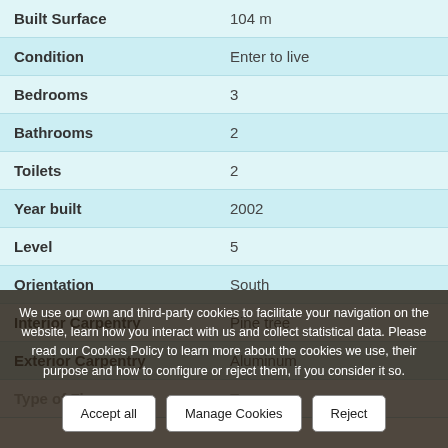| Property | Value |
| --- | --- |
| Built Surface | 104 m |
| Condition | Enter to live |
| Bedrooms | 3 |
| Bathrooms | 2 |
| Toilets | 2 |
| Year built | 2002 |
| Level | 5 |
| Orientation | South |
| Interior Carpentry | Pine tree |
| Exterior Carpentry | Aluminum |
| Type of Floor | Terrazzo |
We use our own and third-party cookies to facilitate your navigation on the website, learn how you interact with us and collect statistical data. Please read our Cookies Policy to learn more about the cookies we use, their purpose and how to configure or reject them, if you consider it so.